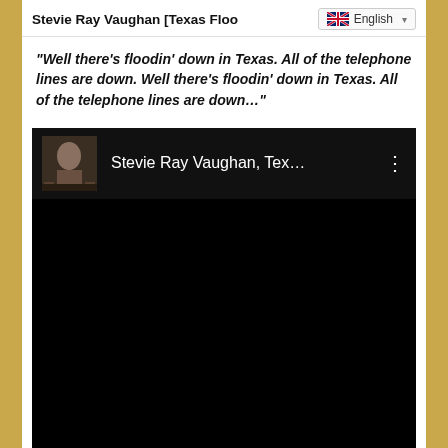Stevie Ray Vaughan [Texas Floo...
“Well there’s floodin’ down in Texas. All of the telephone lines are down. Well there’s floodin’ down in Texas. All of the telephone lines are down…”
[Figure (screenshot): Embedded YouTube video player showing Stevie Ray Vaughan, Tex... with album thumbnail on black background and three-dot menu icon]